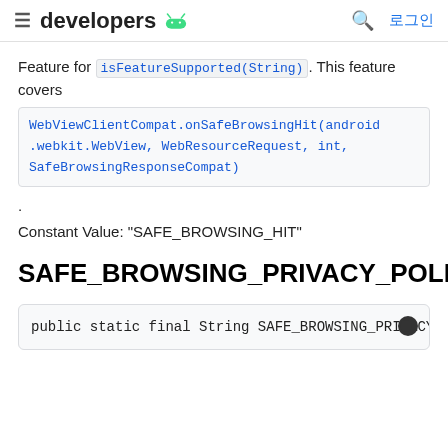≡ developers [android logo] 🔍 로그인
Feature for isFeatureSupported(String). This feature covers WebViewClientCompat.onSafeBrowsingHit(android.webkit.WebView, WebResourceRequest, int, SafeBrowsingResponseCompat).
Constant Value: "SAFE_BROWSING_HIT"
SAFE_BROWSING_PRIVACY_POLICY_URL
public static final String SAFE_BROWSING_PRIVACY_POL